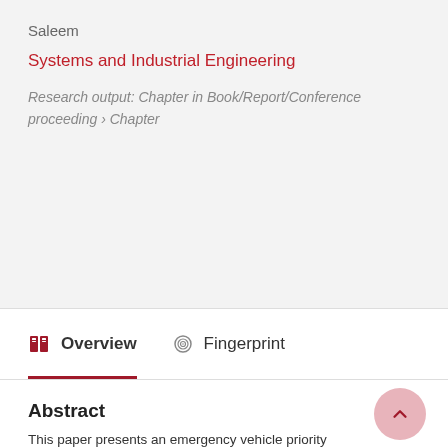Saleem
Systems and Industrial Engineering
Research output: Chapter in Book/Report/Conference proceeding › Chapter
Overview | Fingerprint
Abstract
This paper presents an emergency vehicle priority control system based on a connected vehicle technology called MMITSS